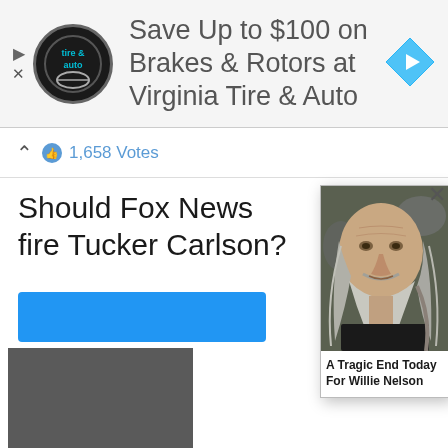[Figure (screenshot): Advertisement banner for Virginia Tire & Auto with logo, text and navigation icon]
Save Up to $100 on Brakes & Rotors at Virginia Tire & Auto
1,658 Votes
Should Fox News fire Tucker Carlson?
[Figure (photo): Group photo with a person circled in red — Biden Administration article thumbnail]
The Biden A Is Hiding Th Behind Pote To US Dollar
40,566
[Figure (photo): Close-up photo of Willie Nelson, elderly man with long gray hair and beard]
A Tragic End Today For Willie Nelson